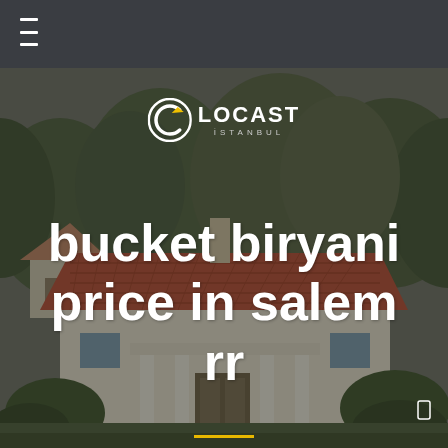[Figure (logo): Locast Istanbul logo — circular arrow icon in white and yellow, with LOCAST in large white uppercase letters and ISTANBUL in small spaced gray letters below]
[Figure (photo): Aerial/elevated view of a Mediterranean-style house with red terracotta tile roof, white walls, surrounded by trees and greenery. Dark overlay on top of image.]
bucket biryani price in salem rr